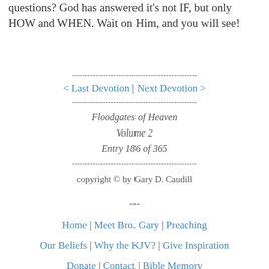questions? God has answered it's not IF, but only HOW and WHEN. Wait on Him, and you will see!
------------------------------------------------
< Last Devotion | Next Devotion >
------------------------------------------------
Floodgates of Heaven
Volume 2
Entry 186 of 365
------------------------------------------------
copyright © by Gary D. Caudill
---
Home | Meet Bro. Gary | Preaching
Our Beliefs | Why the KJV? | Give Inspiration
Donate | Contact | Bible Memory